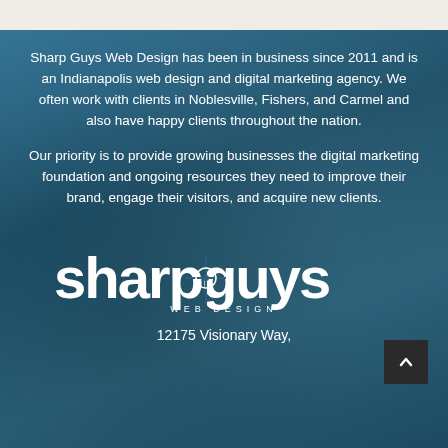Sharp Guys Web Design has been in business since 2011 and is an Indianapolis web design and digital marketing agency. We often work with clients in Noblesville, Fishers, and Carmel and also have happy clients throughout the nation.
Our priority is to provide growing businesses the digital marketing foundation and ongoing resources they need to improve their brand, engage their visitors, and acquire new clients.
[Figure (logo): Sharp Guys Web Design logo in white text on dark teal background]
12175 Visionary Way,